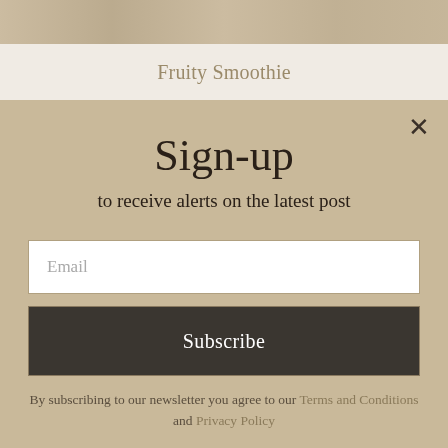[Figure (photo): Decorative food/smoothie image strip at top]
Fruity Smoothie
Sign-up
to receive alerts on the latest post
Email (input field placeholder)
Subscribe (button)
By subscribing to our newsletter you agree to our Terms and Conditions and Privacy Policy